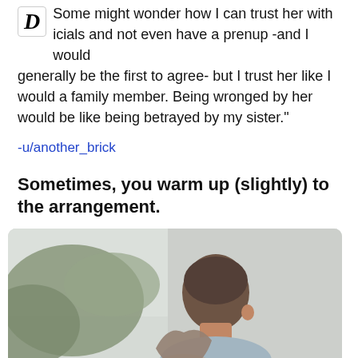Some might wonder how I can trust her with icials and not even have a prenup -and I would generally be the first to agree- but I trust her like I would a family member. Being wronged by her would be like being betrayed by my sister."
-u/another_brick
Sometimes, you warm up (slightly) to the arrangement.
[Figure (photo): Back view of a man with short dark hair, with a woman with long hair in front of him, outdoor setting with blurred greenery and light sky background.]